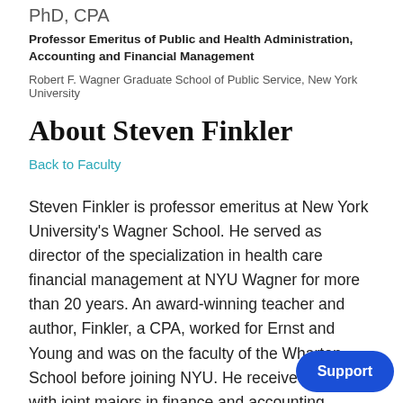PhD, CPA
Professor Emeritus of Public and Health Administration, Accounting and Financial Management
Robert F. Wagner Graduate School of Public Service, New York University
About Steven Finkler
Back to Faculty
Steven Finkler is professor emeritus at New York University's Wagner School. He served as director of the specialization in health care financial management at NYU Wagner for more than 20 years. An award-winning teacher and author, Finkler, a CPA, worked for Ernst and Young and was on the faculty of the Wharton School before joining NYU. He received a BS with joint majors in finance and accounting (summa cum laude) and MS in accounting (with highest honors) Wharton School at the University of Pennsylvania MA in economics and PhD in business administration